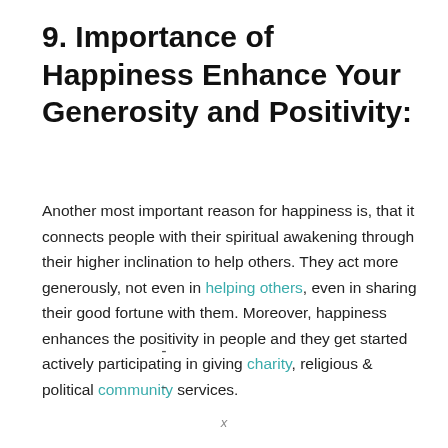9. Importance of Happiness Enhance Your Generosity and Positivity:
Another most important reason for happiness is, that it connects people with their spiritual awakening through their higher inclination to help others. They act more generously, not even in helping others, even in sharing their good fortune with them. Moreover, happiness enhances the positivity in people and they get started actively participating in giving charity, religious & political community services.